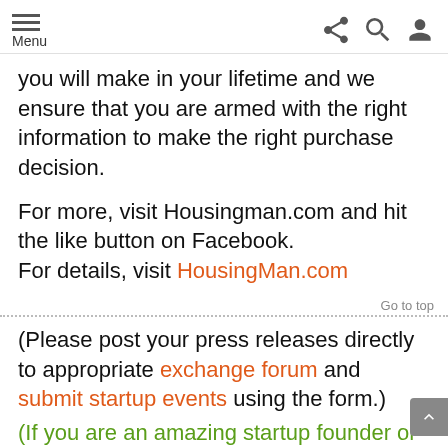Menu [share icon] [search icon] [profile icon]
you will make in your lifetime and we ensure that you are armed with the right information to make the right purchase decision.
For more, visit Housingman.com and hit the like button on Facebook.
For details, visit HousingMan.com
Go to top
(Please post your press releases directly to appropriate exchange forum and submit startup events using the form.)
(If you are an amazing startup founder or enabler of startups, you can include your logo here and our al...